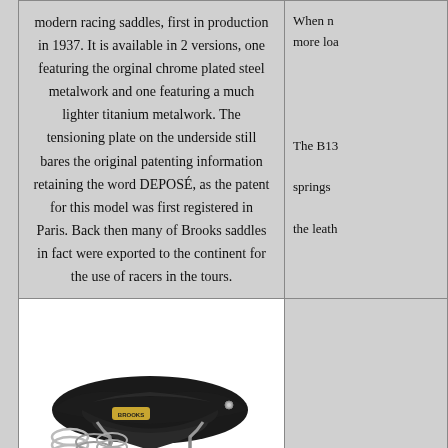modern racing saddles, first in production in 1937. It is available in 2 versions, one featuring the orginal chrome plated steel metalwork and one featuring a much lighter titanium metalwork. The tensioning plate on the underside still bares the original patenting information retaining the word DEPOSÉ, as the patent for this model was first registered in Paris. Back then many of Brooks saddles in fact were exported to the continent for the use of racers in the tours.
When n... more loa...
The B13... springs... the leath...
[Figure (photo): A Brooks bicycle saddle with black leather top and chrome coil springs visible underneath, photographed against a white background.]